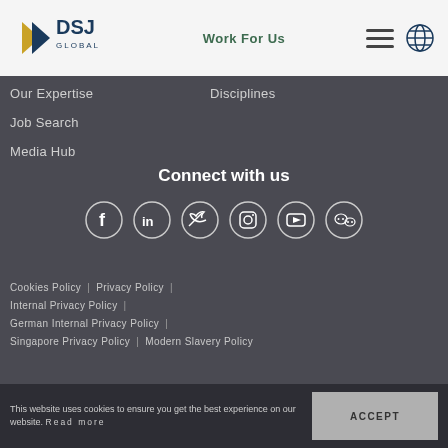DSJ Global | Work For Us
Our Expertise
Disciplines
Job Search
Media Hub
Connect with us
[Figure (illustration): Social media icons: Facebook, LinkedIn, Twitter, Instagram, YouTube, WeChat — white outlined circles on dark background]
Cookies Policy | Privacy Policy | Internal Privacy Policy | German Internal Privacy Policy | Singapore Privacy Policy | Modern Slavery Policy
This website uses cookies to ensure you get the best experience on our website. Read more   ACCEPT